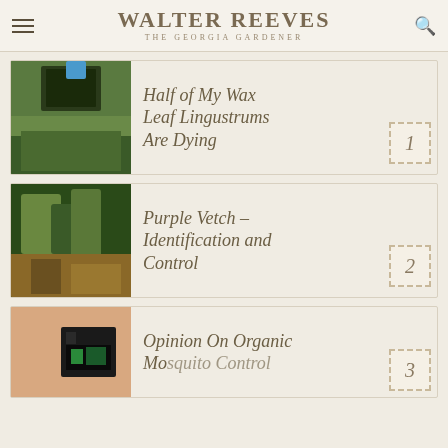WALTER REEVES THE GEORGIA GARDENER
Half of My Wax Leaf Lingustrums Are Dying
Purple Vetch – Identification and Control
Opinion On Organic Mosquito Control